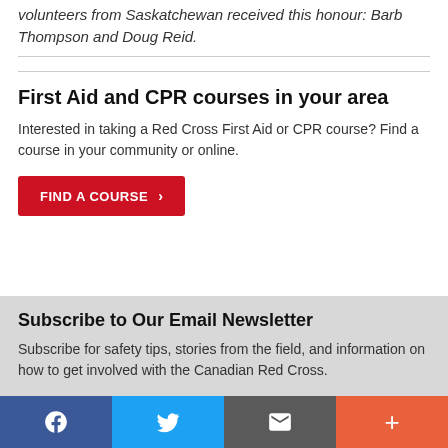volunteers from Saskatchewan received this honour: Barb Thompson and Doug Reid.
First Aid and CPR courses in your area
Interested in taking a Red Cross First Aid or CPR course? Find a course in your community or online.
FIND A COURSE ›
Subscribe to Our Email Newsletter
Subscribe for safety tips, stories from the field, and information on how to get involved with the Canadian Red Cross.